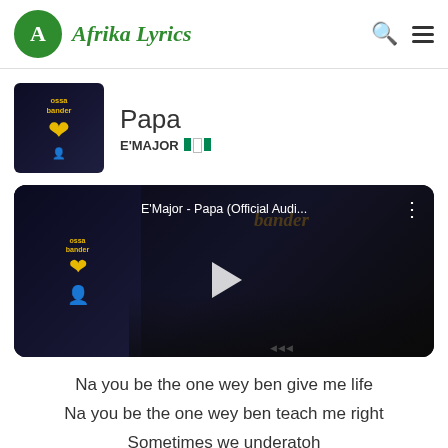Afrika Lyrics
[Figure (screenshot): Album art thumbnail for E'Major - Papa. Dark background with yellow heart graphic and yellow text reading 'ossa bander'.]
Papa
E'MAJOR 🇳🇬
[Figure (screenshot): YouTube video embed showing E'Major - Papa (Official Audi... with play button, dark background with figure and car silhouette, and menu icon.]
Na you be the one wey ben give me life
Na you be the one wey ben teach me right
Sometimes we underatoh
Cos all the work we no appreciate oh